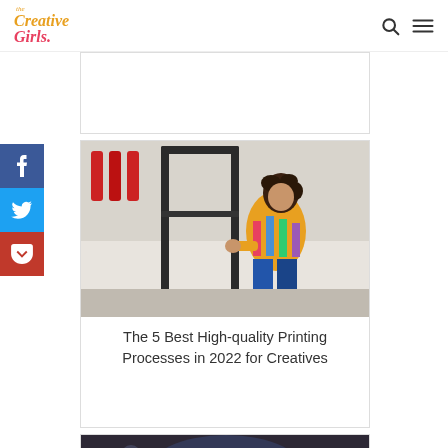The Creative Girls — navigation header with logo, search and menu icons
[Figure (photo): Colorful photo of a person in a yellow/rainbow sweater working at a printing press machine with red ink rollers]
The 5 Best High-quality Printing Processes in 2022 for Creatives
[Figure (photo): Partial photo at bottom showing a person with a tool or instrument, dark background]